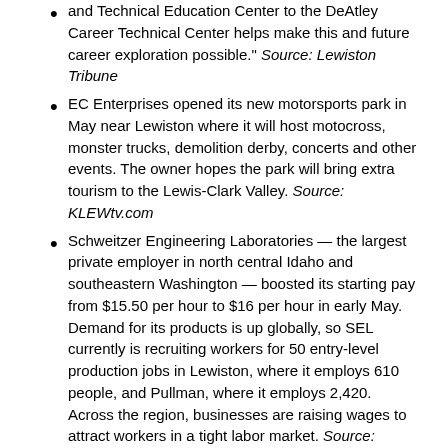and Technical Education Center to the DeAtley Career Technical Center helps make this and future career exploration possible." Source: Lewiston Tribune
EC Enterprises opened its new motorsports park in May near Lewiston where it will host motocross, monster trucks, demolition derby, concerts and other events. The owner hopes the park will bring extra tourism to the Lewis-Clark Valley. Source: KLEWtv.com
Schweitzer Engineering Laboratories — the largest private employer in north central Idaho and southeastern Washington — boosted its starting pay from $15.50 per hour to $16 per hour in early May. Demand for its products is up globally, so SEL currently is recruiting workers for 50 entry-level production jobs in Lewiston, where it employs 610 people, and Pullman, where it employs 2,420. Across the region, businesses are raising wages to attract workers in a tight labor market. Source: Lewiston Tribune
The City of Lewiston has approved $27.5 million to